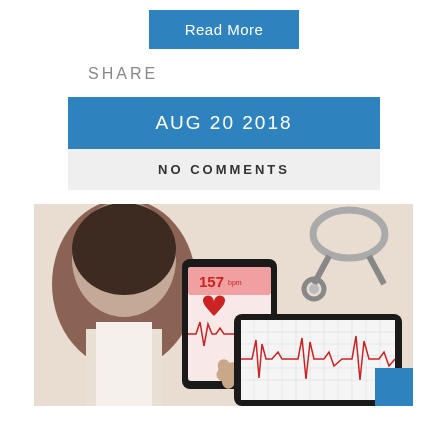Read More
SHARE
AUG 20 2018
NO COMMENTS
[Figure (photo): A person holding a smartphone displaying a heart rate monitor app showing 157 bpm with a red heart icon and ECG waveform. A tablet with an ECG trace in red and a stethoscope are visible on the desk in the background.]